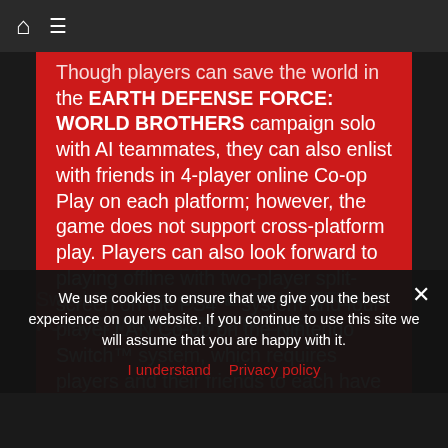🏠 ≡
Though players can save the world in the EARTH DEFENSE FORCE: WORLD BROTHERS campaign solo with AI teammates, they can also enlist with friends in 4-player online Co-op Play on each platform; however, the game does not support cross-platform play. Players can also look forward to playing offline with two-player split-screen on the PS4™ system and four-player LAN Co-op on the Nintendo Switch™ system, which requires players and their friends to each have their own Nintendo Switch™ and copy of EARTH DEFENSE FORCE: WORLD BROTHERS
We use cookies to ensure that we give you the best experience on our website. If you continue to use this site we will assume that you are happy with it.
I understand   Privacy policy